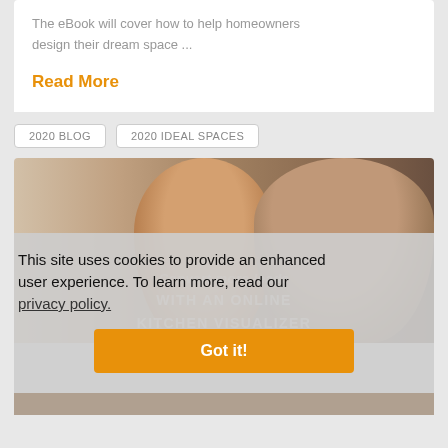The eBook will cover how to help homeowners design their dream space ...
Read More
2020 BLOG
2020 IDEAL SPACES
[Figure (photo): A smiling couple, woman and man, looking at something together, with warm background colors.]
This site uses cookies to provide an enhanced user experience. To learn more, read our privacy policy.
Got it!
WITH AN ONLINE KITCHEN VISUALIZER